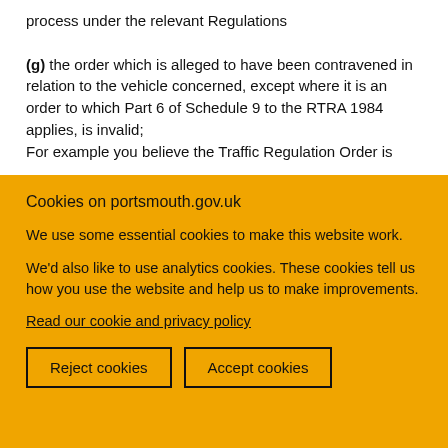process under the relevant Regulations

(g) the order which is alleged to have been contravened in relation to the vehicle concerned, except where it is an order to which Part 6 of Schedule 9 to the RTRA 1984 applies, is invalid;
For example you believe the Traffic Regulation Order is
Cookies on portsmouth.gov.uk
We use some essential cookies to make this website work.
We'd also like to use analytics cookies. These cookies tell us how you use the website and help us to make improvements.
Read our cookie and privacy policy
Reject cookies
Accept cookies